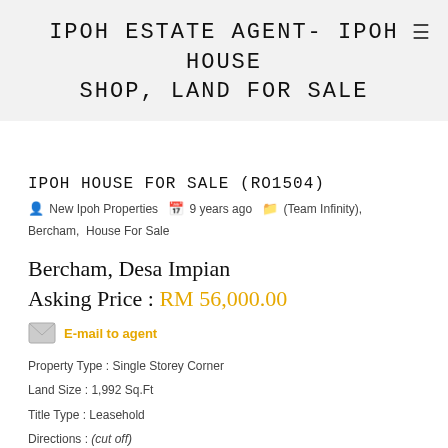IPOH ESTATE AGENT- IPOH HOUSE SHOP, LAND FOR SALE
IPOH HOUSE FOR SALE (RO1504)
New Ipoh Properties  9 years ago  (Team Infinity), Bercham, House For Sale
Bercham, Desa Impian
Asking Price : RM 56,000.00
E-mail to agent
Property Type : Single Storey Corner
Land Size : 1,992 Sq.Ft
Title Type : Leasehold
Directions : (cut off)